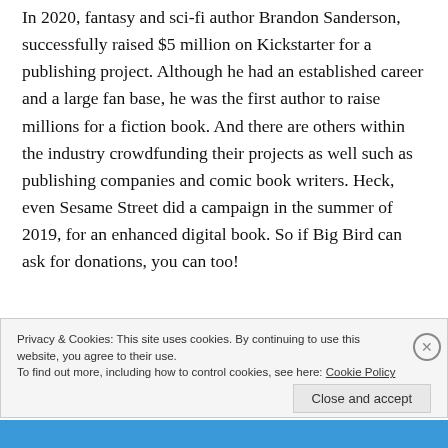In 2020, fantasy and sci-fi author Brandon Sanderson, successfully raised $5 million on Kickstarter for a publishing project. Although he had an established career and a large fan base, he was the first author to raise millions for a fiction book. And there are others within the industry crowdfunding their projects as well such as publishing companies and comic book writers. Heck, even Sesame Street did a campaign in the summer of 2019, for an enhanced digital book. So if Big Bird can ask for donations, you can too!
Privacy & Cookies: This site uses cookies. By continuing to use this website, you agree to their use.
To find out more, including how to control cookies, see here: Cookie Policy